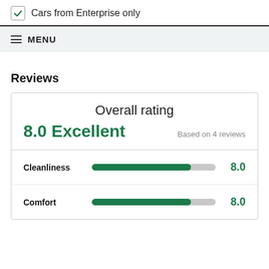Cars from Enterprise only
MENU
Reviews
Overall rating
8.0 Excellent
Based on 4 reviews
| Category | Score |
| --- | --- |
| Cleanliness | 8.0 |
| Comfort | 8.0 |